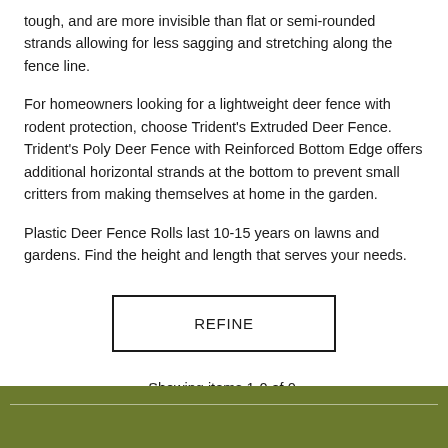tough, and are more invisible than flat or semi-rounded strands allowing for less sagging and stretching along the fence line.
For homeowners looking for a lightweight deer fence with rodent protection, choose Trident's Extruded Deer Fence. Trident's Poly Deer Fence with Reinforced Bottom Edge offers additional horizontal strands at the bottom to prevent small critters from making themselves at home in the garden.
Plastic Deer Fence Rolls last 10-15 years on lawns and gardens. Find the height and length that serves your needs.
REFINE
Showing items 1-0 of 0.